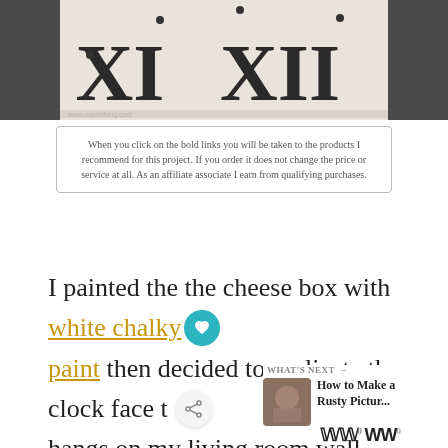[Figure (photo): Close-up photo of a large white distressed clock face with Roman numerals (XI and XII visible), rustic aged look with chipped paint.]
When you click on the bold links you will be taken to the products I recommend for this project. If you order it does not change the price or service at all. As an affiliate associate I earn from qualifying purchases.
I painted the the cheese box with white chalky paint then decided to replicate the clock face t hangs on my living room wall.
WHAT'S NEXT → How to Make a Rusty Pictur...